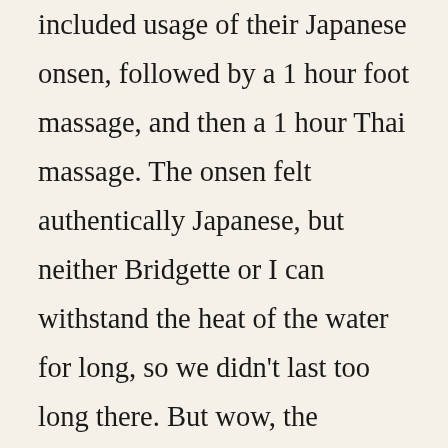included usage of their Japanese onsen, followed by a 1 hour foot massage, and then a 1 hour Thai massage. The onsen felt authentically Japanese, but neither Bridgette or I can withstand the heat of the water for long, so we didn't last too long there. But wow, the massages that followed were